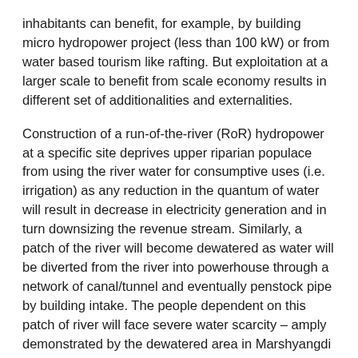inhabitants can benefit, for example, by building micro hydropower project (less than 100 kW) or from water based tourism like rafting. But exploitation at a larger scale to benefit from scale economy results in different set of additionalities and externalities.
Construction of a run-of-the-river (RoR) hydropower at a specific site deprives upper riparian populace from using the river water for consumptive uses (i.e. irrigation) as any reduction in the quantum of water will result in decrease in electricity generation and in turn downsizing the revenue stream. Similarly, a patch of the river will become dewatered as water will be diverted from the river into powerhouse through a network of canal/tunnel and eventually penstock pipe by building intake. The people dependent on this patch of river will face severe water scarcity – amply demonstrated by the dewatered area in Marshyangdi River by the highway to Pokahra. If the users of electricity come from a different province, the people adversely impacted as such will never agree to construction of implementation of hydropower plant in their province resulting in failure to generate electricity at optimum level.